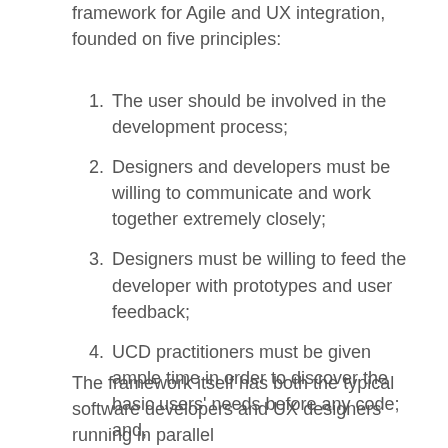framework for Agile and UX integration, founded on five principles:
The user should be involved in the development process;
Designers and developers must be willing to communicate and work together extremely closely;
Designers must be willing to feed the developer with prototypes and user feedback;
UCD practitioners must be given ample time in order to discover the basic users' needs before any code; and,
Agile/UCD integration must exist within a cohesive project management framework.
The framework itself has both the typical software developers and UX designers running in parallel